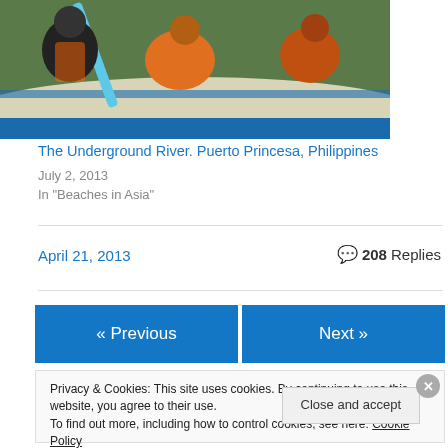[Figure (photo): People in a boat on water, partial view showing figures and boat hull]
The Underground River. Puerto Princesa, Philippines
July 2, 2013
In "Beaches in Asia"
April 21, 2013
💬 208 Replies
« Previous
Next »
Privacy & Cookies: This site uses cookies. By continuing to use this website, you agree to their use.
To find out more, including how to control cookies, see here: Cookie Policy
Close and accept